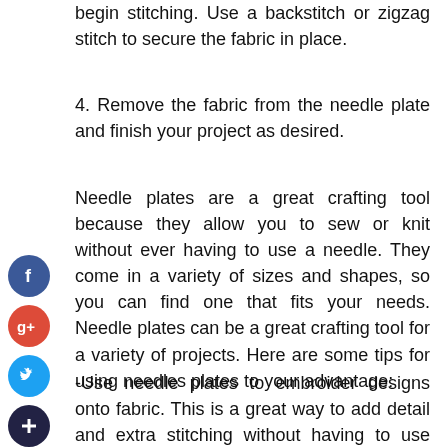begin stitching. Use a backstitch or zigzag stitch to secure the fabric in place.
4. Remove the fabric from the needle plate and finish your project as desired.
Needle plates are a great crafting tool because they allow you to sew or knit without ever having to use a needle. They come in a variety of sizes and shapes, so you can find one that fits your needs. Needle plates can be a great crafting tool for a variety of projects. Here are some tips for using needles plates to your advantage:
-Use needle plates to embroider designs onto fabric. This is a great way to add detail and extra stitching without having to use multiple needles.